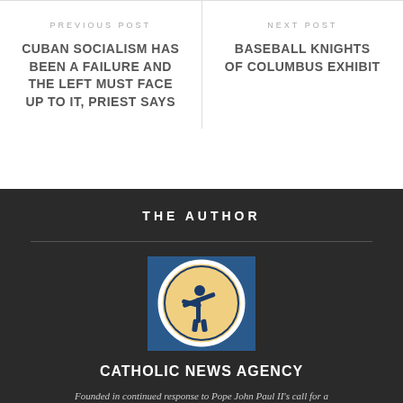PREVIOUS POST
CUBAN SOCIALISM HAS BEEN A FAILURE AND THE LEFT MUST FACE UP TO IT, PRIEST SAYS
NEXT POST
BASEBALL KNIGHTS OF COLUMBUS EXHIBIT
THE AUTHOR
[Figure (logo): Catholic News Agency logo: a circular emblem with a figure carrying a cross on a yellow/cream background, framed in a blue square]
CATHOLIC NEWS AGENCY
Founded in continued response to Pope John Paul II's call for a